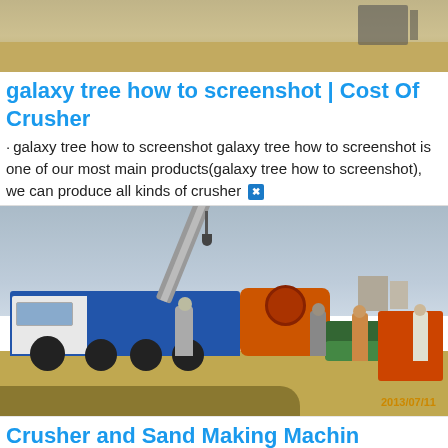[Figure (photo): Top partial photo showing sandy/dusty outdoor terrain, appears to be a construction or quarry site]
galaxy tree how to screenshot | Cost Of Crusher
· galaxy tree how to screenshot galaxy tree how to screenshot is one of our most main products(galaxy tree how to screenshot), we can produce all kinds of crusher
[Figure (photo): Photo of a blue crane truck with workers on a construction site, with an orange drum and green piping. Timestamp 2013/07/11 visible in bottom right corner.]
Crusher and Sand Making Machin